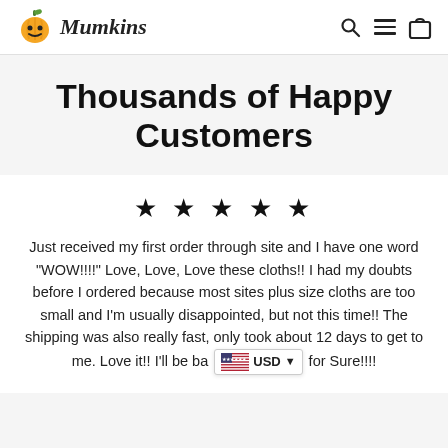Mumkins — navigation header with search, menu, and cart icons
Thousands of Happy Customers
★★★★★

Just received my first order through site and I have one word "WOW!!!!" Love, Love, Love these cloths!! I had my doubts before I ordered because most sites plus size cloths are too small and I'm usually disappointed, but not this time!! The shipping was also really fast, only took about 12 days to get to me. Love it!! I'll be ba [USD currency selector] for Sure!!!!